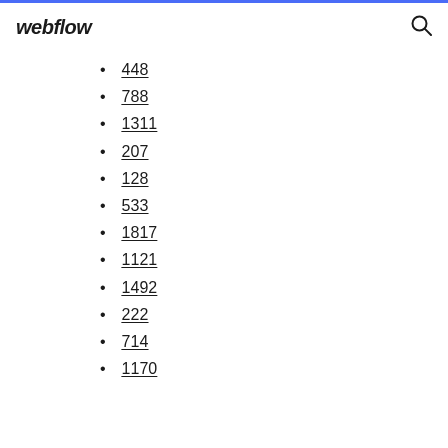webflow
448
788
1311
207
128
533
1817
1121
1492
222
714
1170